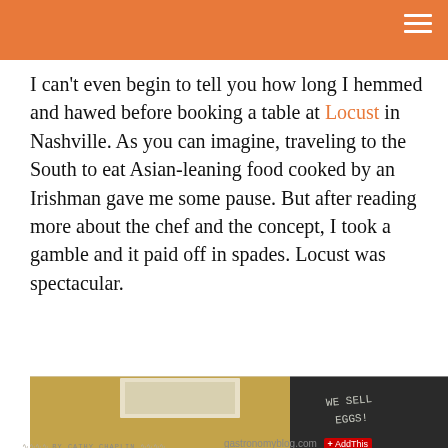I can't even begin to tell you how long I hemmed and hawed before booking a table at Locust in Nashville. As you can imagine, traveling to the South to eat Asian-leaning food cooked by an Irishman gave me some pause. But after reading more about the chef and the concept, I took a gamble and it paid off in spades. Locust was spectacular.
[Figure (photo): Interior photo of a restaurant, warm wood tones on the left, dark chalkboard with 'WE SELL EGGS' written on it on the right side]
[Figure (illustration): Decorative cooking/kitchen utensil icons in light gray sketch style - whisk, plate, bowl, fork, etc.]
Also delicious on Gastronomy...
[Figure (logo): Gastronomy blog logo in italic serif font with 'BY CATHY CHAPLIN' byline in monospace]
Lulu at the Hammer Muse...
gastronomyblog.com
AddThis